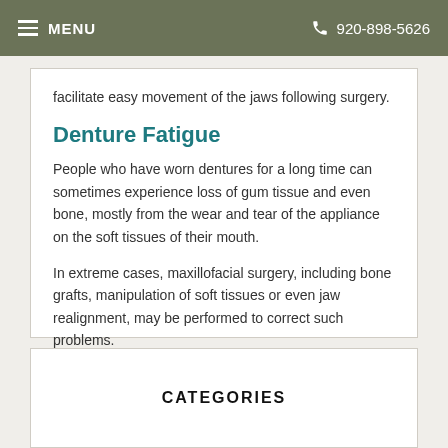MENU  920-898-5626
facilitate easy movement of the jaws following surgery.
Denture Fatigue
People who have worn dentures for a long time can sometimes experience loss of gum tissue and even bone, mostly from the wear and tear of the appliance on the soft tissues of their mouth.
In extreme cases, maxillofacial surgery, including bone grafts, manipulation of soft tissues or even jaw realignment, may be performed to correct such problems.
CATEGORIES